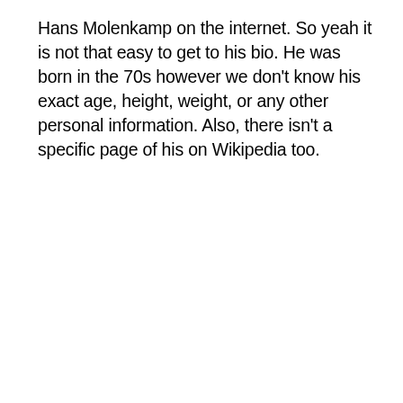Hans Molenkamp on the internet. So yeah it is not that easy to get to his bio. He was born in the 70s however we don't know his exact age, height, weight, or any other personal information. Also, there isn't a specific page of his on Wikipedia too.